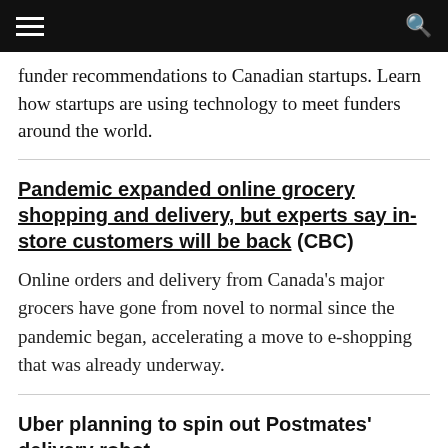funder recommendations to Canadian startups. Learn how startups are using technology to meet funders around the world.
Pandemic expanded online grocery shopping and delivery, but experts say in-store customers will be back (CBC)
Online orders and delivery from Canada's major grocers have gone from novel to normal since the pandemic began, accelerating a move to e-shopping that was already underway.
Uber planning to spin out Postmates' delivery robot